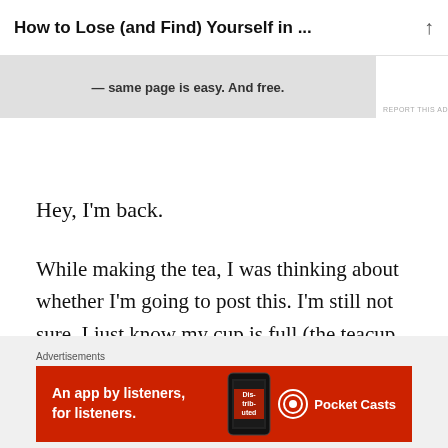How to Lose (and Find) Yourself in ...
[Figure (screenshot): Top advertisement banner showing text: '— same page is easy. And free.']
Hey, I'm back.
While making the tea, I was thinking about whether I'm going to post this. I'm still not sure. I just know my cup is full (the teacup too), my fingers are dancing across the keyboard, and I just need to pour the words out. If I post, I might give a few people something to talk about, a few people some answers to questions they were too tactful
Advertisements
[Figure (screenshot): Red advertisement banner for Pocket Casts app: 'An app by listeners, for listeners.' with Pocket Casts logo and phone graphic showing 'Distributed' text.]